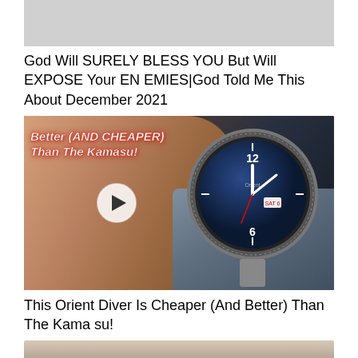[Figure (screenshot): Gray placeholder image at the top of the page, partially cut off]
God Will SURELY BLESS YOU But Will EXPOSE Your ENEMIES|God Told Me This About December 2021
[Figure (photo): Close-up photo of an Orient diver watch on a wrist wearing a blue fabric sleeve. Text overlay reads 'Better (AND CHEAPER) Than The Kamasu!' in italic white lettering with red shadow. A circular play button is visible in the center.]
This Orient Diver Is Cheaper (And Better) Than The Kamasu!
[Figure (photo): Partially visible image at the bottom of the page, appears to show a person]